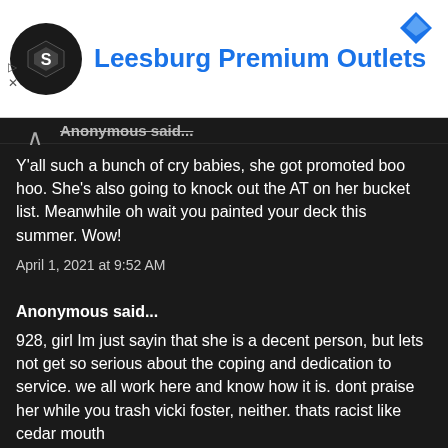[Figure (screenshot): Ad banner for Leesburg Premium Outlets with logo and blue text]
Anonymous said... (partially cut off/struck through at top)
Y'all such a bunch of cry babies, she got promoted boo hoo. She's also going to knock out the AT on her bucket list. Meanwhile oh wait you painted your deck this summer. Wow!
April 1, 2021 at 9:52 AM
Anonymous said...
928, girl Im just sayin that she is a decent person, but lets not get so serious about the coping and dedication to service. we all work here and know how it is. dont praise her while you trash vicki foster, neither. thats racist like cedar mouth
as for the boobs we been talking about those for years and we all know about her fight with cancer was ruff